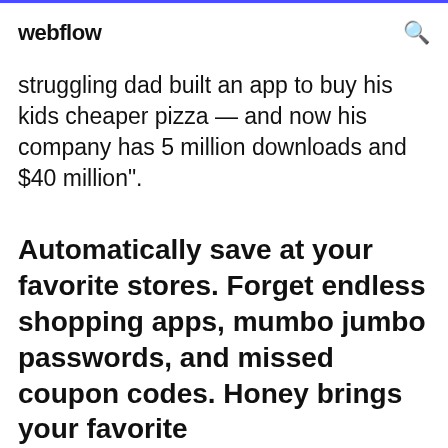webflow
struggling dad built an app to buy his kids cheaper pizza — and now his company has 5 million downloads and $40 million".
Automatically save at your favorite stores. Forget endless shopping apps, mumbo jumbo passwords, and missed coupon codes. Honey brings your favorite
The Honey extension is the perfect coupon app for your online shopping. Read how you can